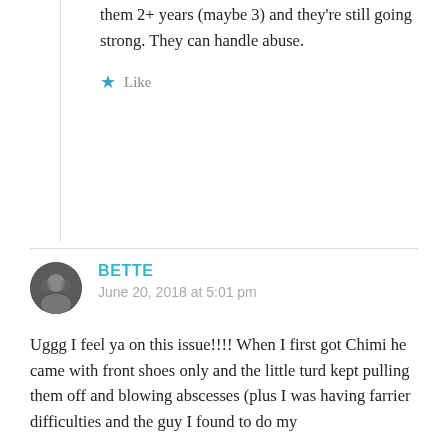them 2+ years (maybe 3) and they're still going strong. They can handle abuse.
Like
BETTE
June 20, 2018 at 5:01 pm
Uggg I feel ya on this issue!!!! When I first got Chimi he came with front shoes only and the little turd kept pulling them off and blowing abscesses (plus I was having farrier difficulties and the guy I found to do my